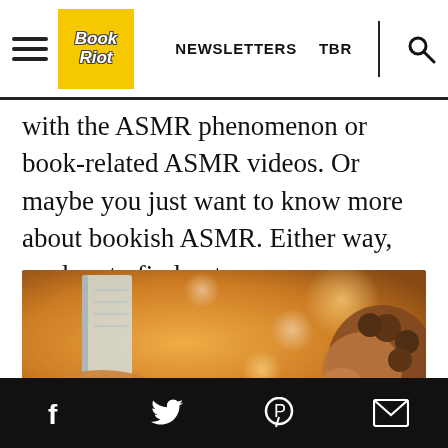Book Riot | NEWSLETTERS  TBR
with the ASMR phenomenon or book-related ASMR videos. Or maybe you just want to know more about bookish ASMR. Either way, read on to find out more.
[Figure (photo): Person lying down and reading a book, warm golden bokeh background lighting]
Social share icons: Facebook, Twitter, Pinterest, Email